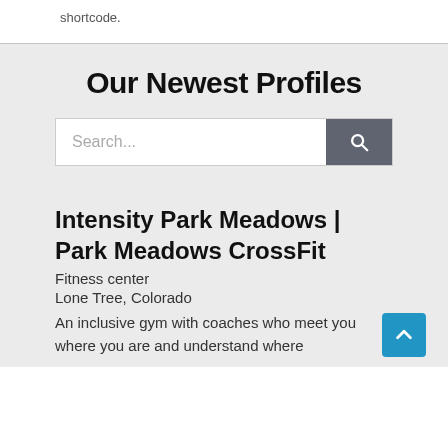shortcode.
Our Newest Profiles
Search...
Intensity Park Meadows | Park Meadows CrossFit
Fitness center
Lone Tree, Colorado
An inclusive gym with coaches who meet you where you are and understand where